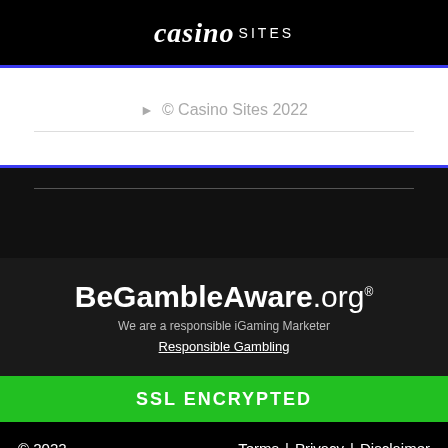casino SITES
▶ © Casino Sites 2022
[Figure (logo): BeGambleAware.org logo with registered trademark symbol]
We are a responsible iGaming Marketer
Responsible Gambling
SSL ENCRYPTED
© 2022    Terms | Privacy | Disclaimer